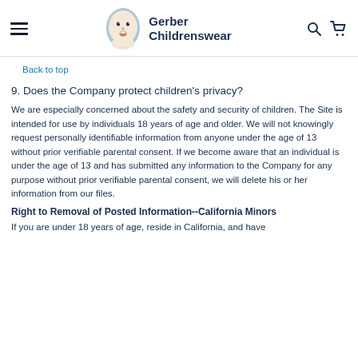Gerber Childrenswear
Back to top
9. Does the Company protect children's privacy?
We are especially concerned about the safety and security of children. The Site is intended for use by individuals 18 years of age and older. We will not knowingly request personally identifiable information from anyone under the age of 13 without prior verifiable parental consent. If we become aware that an individual is under the age of 13 and has submitted any information to the Company for any purpose without prior verifiable parental consent, we will delete his or her information from our files.
Right to Removal of Posted Information--California Minors
If you are under 18 years of age, reside in California, and have